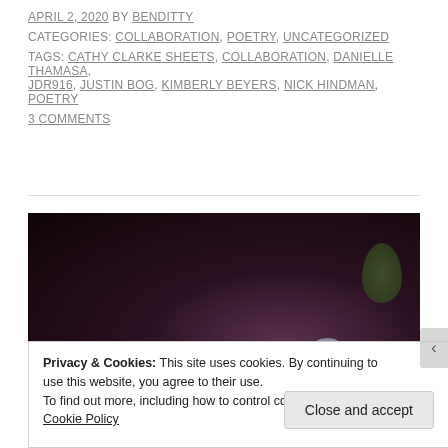APRIL 2, 2020 BY BENDITTY
CATEGORIES: COLLABORATION, POETRY, UNCATEGORIZED
TAGS: CATHY CLARKE SHEETS, COLLABORATION, DANIELLE THAMASA, JDR916, JUSTIN BOG, KIMBERLY BEYERS, NICK HINDMAN, POETRY
3 COMMENTS
[Figure (photo): Dark background photo of a flower (likely a blue/white bloom) against near-black background with a small green leaf visible in the upper right. White text overlay reads 'we must flatten' in a handwritten-style font.]
Privacy & Cookies: This site uses cookies. By continuing to use this website, you agree to their use.
To find out more, including how to control cookies, see here: Cookie Policy
Close and accept